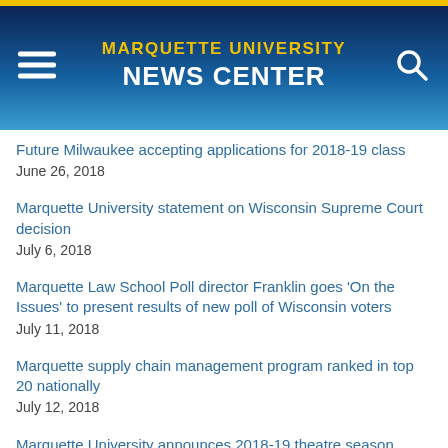MARQUETTE UNIVERSITY NEWS CENTER
Future Milwaukee accepting applications for 2018-19 class
June 26, 2018
Marquette University statement on Wisconsin Supreme Court decision
July 6, 2018
Marquette Law School Poll director Franklin goes 'On the Issues' to present results of new poll of Wisconsin voters
July 11, 2018
Marquette supply chain management program ranked in top 20 nationally
July 12, 2018
Marquette University announces 2018-19 theatre season
July 26, 2018
Marquette University acquires score to 'The Lord of the Rings'